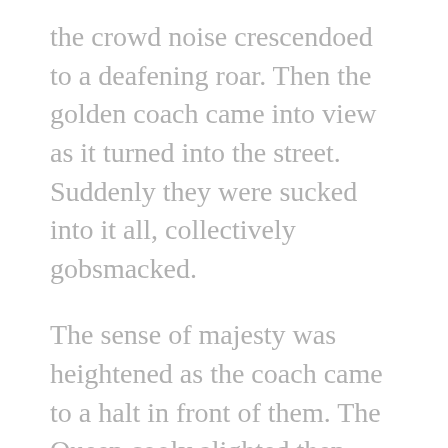the crowd noise crescendoed to a deafening roar. Then the golden coach came into view as it turned into the street. Suddenly they were sucked into it all, collectively gobsmacked.
The sense of majesty was heightened as the coach came to a halt in front of them. The Queen cooly alighted then calmly mounted the steps. No cheesy smiles, no winks, no small talk acknowledgment of anyone. This was serious business.
After her climb she paused at the Abbey's arched entrance to await her cue. The curtain was about to go up on the greatest Burlesque Revue of the